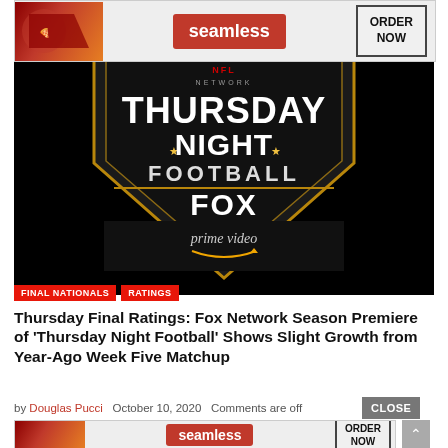[Figure (photo): Seamless food delivery advertisement banner with pizza image, Seamless logo in red, and ORDER NOW button]
[Figure (logo): NFL Network Thursday Night Football on FOX and Amazon Prime Video logo on black background shield graphic]
FINAL NATIONALS
RATINGS
Thursday Final Ratings: Fox Network Season Premiere of 'Thursday Night Football' Shows Slight Growth from Year-Ago Week Five Matchup
by Douglas Pucci   October 10, 2020   Comments are off
[Figure (photo): Seamless food delivery advertisement banner with pizza, Seamless logo in red, and ORDER NOW button (bottom)]